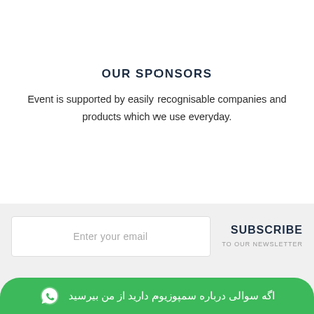OUR SPONSORS
Event is supported by easily recognisable companies and products which we use everyday.
Enter your email
SUBSCRIBE
TO OUR NEWSLETTER
اگه سوالی درباره سمپوزیوم دارید از من بیرسید